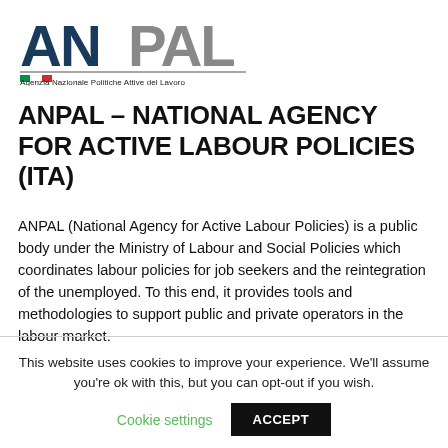[Figure (logo): ANPAL logo with stylized text 'ANPAL' and tagline 'Agenzia Nazionale Politiche Attive del Lavoro' with Italian flag colors bar]
ANPAL – NATIONAL AGENCY FOR ACTIVE LABOUR POLICIES (ITA)
ANPAL (National Agency for Active Labour Policies) is a public body under the Ministry of Labour and Social Policies which coordinates labour policies for job seekers and the reintegration of the unemployed. To this end, it provides tools and methodologies to support public and private operators in the labour market.
This website uses cookies to improve your experience. We'll assume you're ok with this, but you can opt-out if you wish.
Cookie settings   ACCEPT